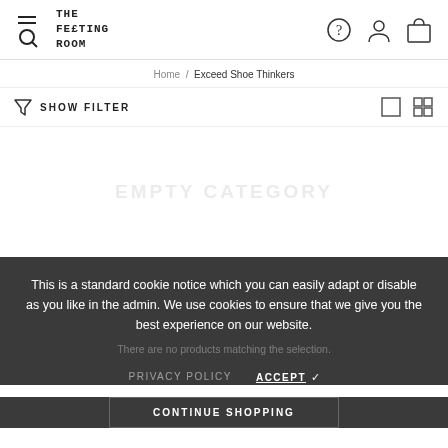THE FEETING ROOM — header with menu/search, help, account, and cart icons
Home / Exceed Shoe Thinkers
SHOW FILTER
EMPTY CATEGORY
There are no products matching the selection.
This is a standard cookie notice which you can easily adapt or disable as you like in the admin. We use cookies to ensure that we give you the best experience on our website.
PRIVACY POLICY   ACCEPT ✓
CONTINUE SHOPPING